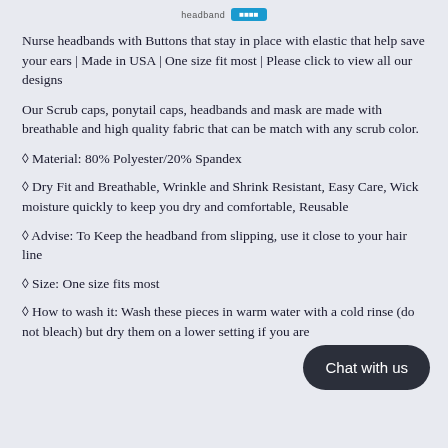headband | Chat with us
Nurse headbands with Buttons that stay in place with elastic that help save your ears | Made in USA | One size fit most | Please click to view all our designs
Our Scrub caps, ponytail caps, headbands and mask are made with breathable and high quality fabric that can be match with any scrub color.
◊ Material: 80% Polyester/20% Spandex
◊ Dry Fit and Breathable, Wrinkle and Shrink Resistant, Easy Care, Wick moisture quickly to keep you dry and comfortable, Reusable
◊ Advise: To Keep the headband from slipping, use it close to your hair line
◊ Size: One size fits most
◊ How to wash it: Wash these pieces in warm water with a cold rinse (do not bleach) but dry them on a lower setting if you are